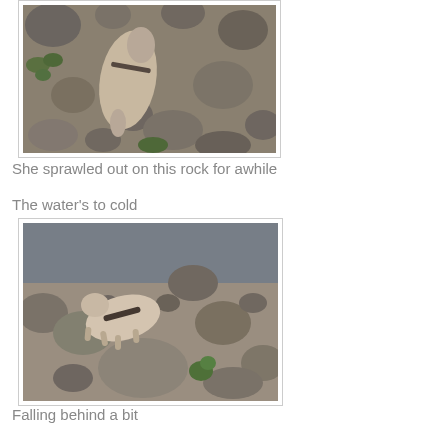[Figure (photo): Top-down view of an animal (appears to be a dog or similar) lying/sprawled on rocks and pebbles in a rocky stream bed area with some green vegetation visible]
She sprawled out on this rock for awhile
The water's to cold
[Figure (photo): Animal (pig or dog) walking among rocks in a shallow rocky stream/creek bed with water visible and some green plant growth]
Falling behind a bit